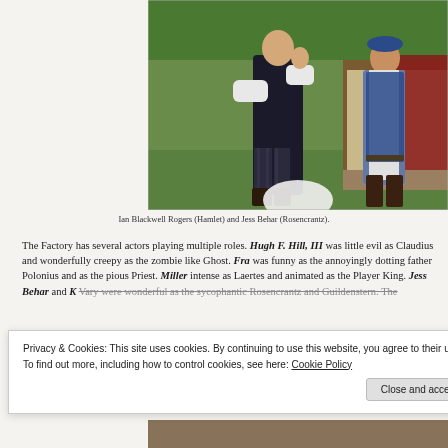[Figure (photo): Two actors in period costume performing outdoors on grass stage. Left actor in black outfit with arms raised, right actor in blue vest and white shirt.]
Ian Blackwell Rogers (Hamlet) and Jess Behar (Rosencrantz).
The Factory has several actors playing multiple roles. Hugh F. Hill, III was little evil as Claudius and wonderfully creepy as the zombie like Ghost. Fra was funny as the annoyingly dotting father Polonius and as the pious Priest. Miller intense as Laertes and animated as the Player King. Jess Behar and K Vary were wonderful as the sycophantic Rosencrantz and Guildenstern. The is b che
Privacy & Cookies: This site uses cookies. By continuing to use this website, you agree to their use.
To find out more, including how to control cookies, see here: Cookie Policy
Close and accept